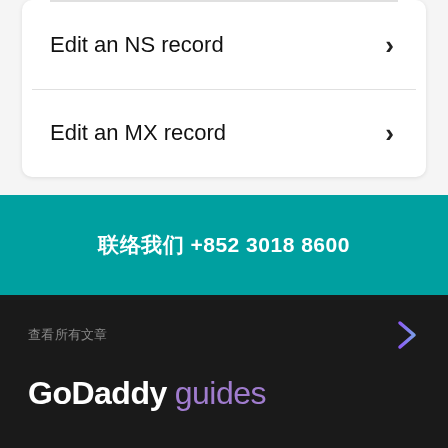Edit an NS record
Edit an MX record
联络我们 +852 3018 8600
查看所有文章
GoDaddy guides